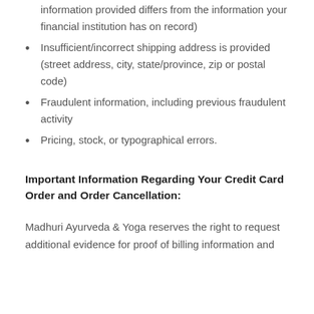information provided differs from the information your financial institution has on record)
Insufficient/incorrect shipping address is provided (street address, city, state/province, zip or postal code)
Fraudulent information, including previous fraudulent activity
Pricing, stock, or typographical errors.
Important Information Regarding Your Credit Card Order and Order Cancellation:
Madhuri Ayurveda & Yoga reserves the right to request additional evidence for proof of billing information and